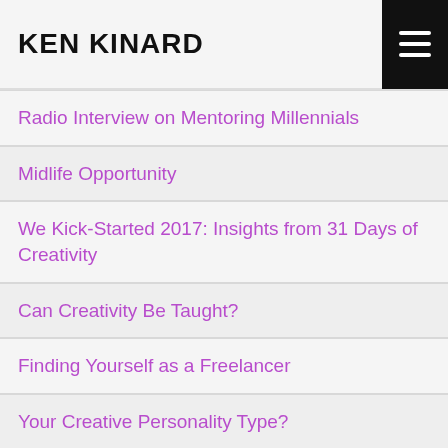KEN KINARD
Radio Interview on Mentoring Millennials
Midlife Opportunity
We Kick-Started 2017: Insights from 31 Days of Creativity
Can Creativity Be Taught?
Finding Yourself as a Freelancer
Your Creative Personality Type?
Co-Active Creativity
Being Sick